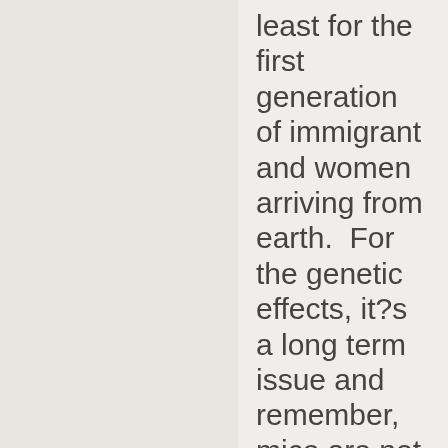least for the first generation of immigrant and women arriving from earth.  For the genetic effects, it?s a long term issue and remember, mice are not human. We have some special genetic instability that even the higher primates don?t have. Below are the abstracts of 3